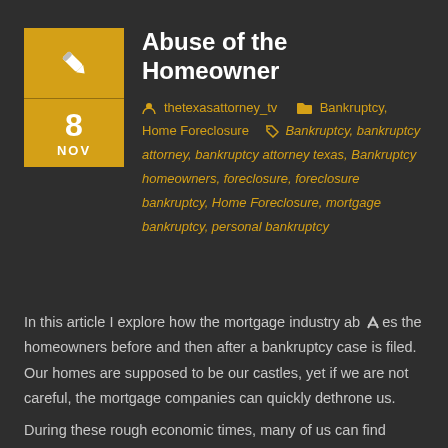Abuse of the Homeowner
thetexasattorney_tv   Bankruptcy, Home Foreclosure   Bankruptcy, bankruptcy attorney, bankruptcy attorney texas, Bankruptcy homeowners, foreclosure, foreclosure bankruptcy, Home Foreclosure, mortgage bankruptcy, personal bankruptcy
In this article I explore how the mortgage industry abuses the homeowners before and then after a bankruptcy case is filed. Our homes are supposed to be our castles, yet if we are not careful, the mortgage companies can quickly dethrone us.
During these rough economic times, many of us can find